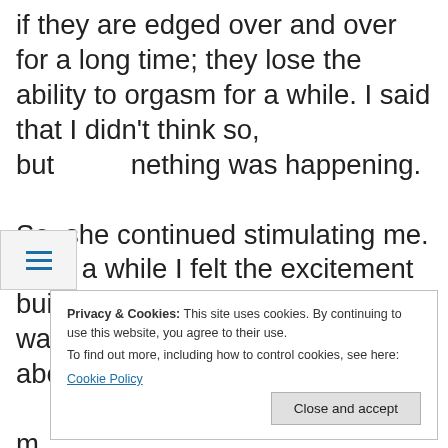if they are edged over and over for a long time; they lose the ability to orgasm for a while. I said that I didn't think so, but nothing was happening.

So, she continued stimulating me. After a while I felt the excitement build again. Once more, Mrs. Lion waited until she thought I was about to come. It was m H ir h repeated the performance as before, but
Privacy & Cookies: This site uses cookies. By continuing to use this website, you agree to their use.
To find out more, including how to control cookies, see here:
Cookie Policy
[Close and accept]